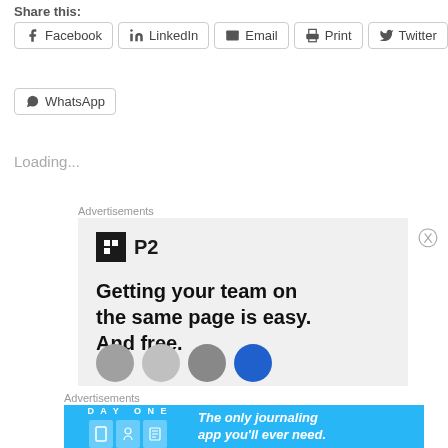Share this:
Facebook
LinkedIn
Email
Print
Twitter
WhatsApp
Loading...
Advertisements
[Figure (screenshot): P2 advertisement: logo with black square icon and P2 text, tagline 'Getting your team on the same page is easy. And free.' with avatars at bottom]
Advertisements
[Figure (screenshot): Day One journaling app advertisement: blue banner with DAY ONE logo, icons, and text 'The only journaling app you'll ever need.']